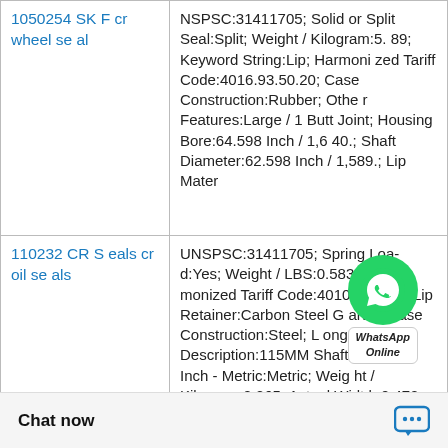| Product | Description |
| --- | --- |
| 1050254 SKF cr wheel seal | NSPSC:31411705; Solid or Split Seal:Split; Weight / Kilogram:5.89; Keyword String:Lip; Harmonized Tariff Code:4016.93.50.20; Case Construction:Rubber; Other Features:Large / 1 Butt Joint; Housing Bore:64.598 Inch / 1,640.; Shaft Diameter:62.598 Inch / 1,589.; Lip Mater |
| 110232 CR Seals cr oil seals | UNSPSC:31411705; Spring Loaded:Yes; Weight / LBS:0.583; Harmonized Tariff Code:4016.95.50.20; Lip Retainer:Carbon Steel Garter; Case Construction:Steel; Long Description:115MM Shaft Dia; 150; Inch - Metric:Metric; Weight / Kilogram:0.265; Actual Width:0.472 Inch / 12 Mill; Manufacturer Name:SKF; Oth |
|  | Retainer:Stainles Veight / LBS:10.39 |
[Figure (other): WhatsApp Online chat bubble overlay in bottom-right area of page]
Chat now